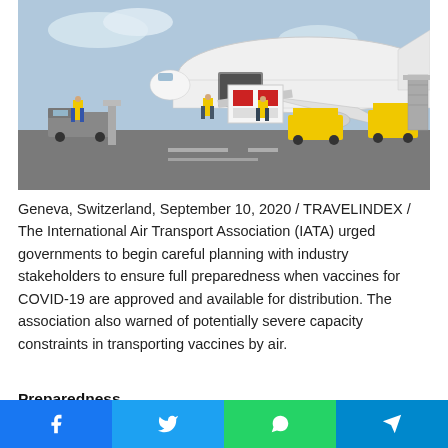[Figure (photo): Airport tarmac scene showing cargo being loaded into a large white commercial aircraft. Workers in high-visibility yellow vests and a cargo vehicle are visible. A white cargo container with red markings is being lifted.]
Geneva, Switzerland, September 10, 2020 / TRAVELINDEX / The International Air Transport Association (IATA) urged governments to begin careful planning with industry stakeholders to ensure full preparedness when vaccines for COVID-19 are approved and available for distribution. The association also warned of potentially severe capacity constraints in transporting vaccines by air.
Preparedness